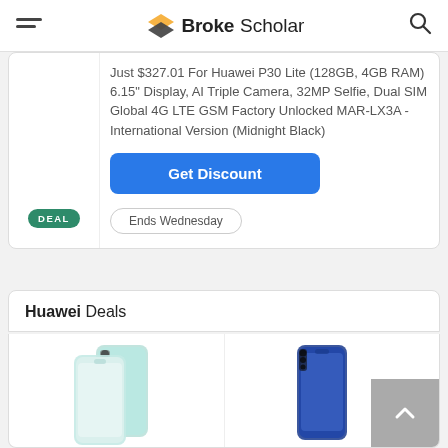BrokeScholar
Just $327.01 For Huawei P30 Lite (128GB, 4GB RAM) 6.15" Display, AI Triple Camera, 32MP Selfie, Dual SIM Global 4G LTE GSM Factory Unlocked MAR-LX3A - International Version (Midnight Black)
Get Discount
Ends Wednesday
Huawei Deals
[Figure (photo): Huawei P30 Pro smartphone in gradient blue/green color, front and back view]
[Figure (photo): Huawei Nova 5T smartphone in blue color, front and back view]